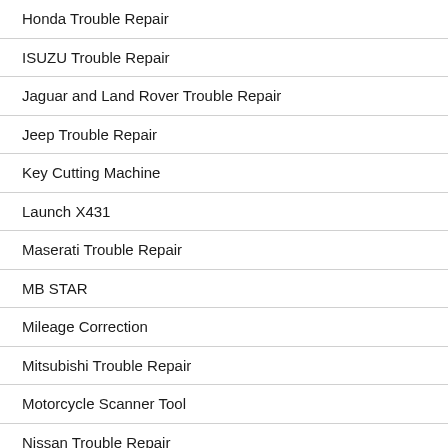Honda Trouble Repair
ISUZU Trouble Repair
Jaguar and Land Rover Trouble Repair
Jeep Trouble Repair
Key Cutting Machine
Launch X431
Maserati Trouble Repair
MB STAR
Mileage Correction
Mitsubishi Trouble Repair
Motorcycle Scanner Tool
Nissan Trouble Repair
OBDSTAR
Opel Trouble Repair